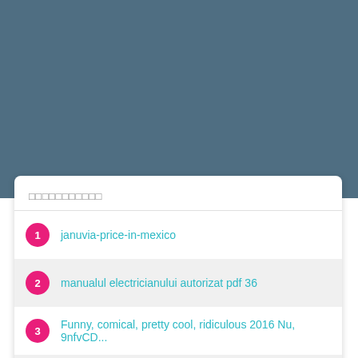[Figure (screenshot): Blue-grey background area at top of page]
□□□□□□□□□□□
1. januvia-price-in-mexico
2. manualul electricianului autorizat pdf 36
3. Funny, comical, pretty cool, ridiculous 2016 Nu, 9nfvCD...
4. insanity_workout_torrent_
5. NDS Boy! Pro - NDS Emulator